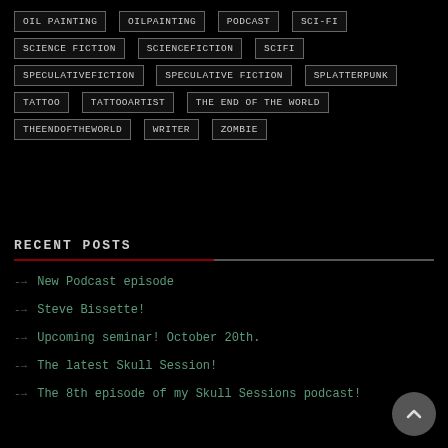OIL PAINTING
OILPAINTING
PODCAST
SCI-FI
SCIENCE FICTION
SCIENCEFICTION
SCIFI
SPECULATIVEFICTION
SPECULATIVE FICTION
SPLATTERPUNK
TATTOO
TATTOOARTIST
THE END OF THE WORLD
THEENDOFTHEWORLD
WRITER
ZOMBIE
RECENT POSTS
New Podcast episode
Steve Bissette!
Upcoming seminar! October 20th.
The latest Skull Session!
The 8th episode of my Skull Sessions podcast!